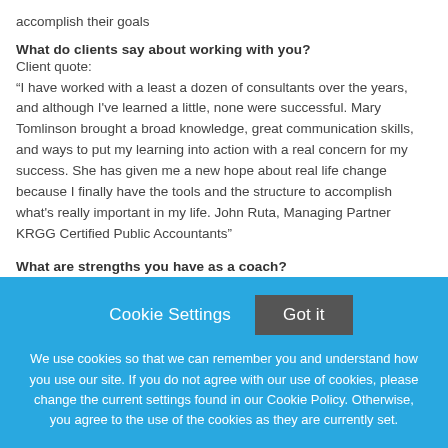accomplish their goals
What do clients say about working with you?
Client quote:
“I have worked with a least a dozen of consultants over the years, and although I've learned a little, none were successful. Mary Tomlinson brought a broad knowledge, great communication skills, and ways to put my learning into action with a real concern for my success. She has given me a new hope about real life change because I finally have the tools and the structure to accomplish what's really important in my life. John Ruta, Managing Partner KRGG Certified Public Accountants”
What are strengths you have as a coach?
Cookie Settings
Got it
We use cookies so that we can remember you and understand how you use our site. If you do not agree with our use of cookies, please change the current settings found in our Cookie Policy. Otherwise, you agree to the use of the cookies as they are currently set.